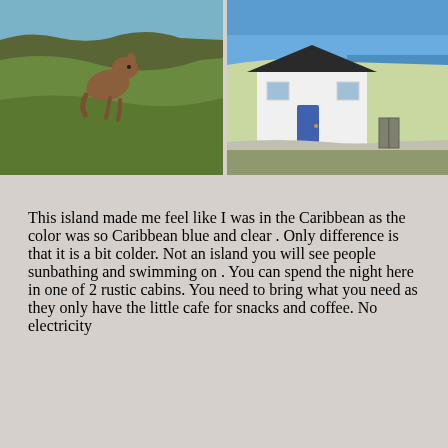[Figure (photo): Two photos side by side: left photo shows a brown animal (possibly a cat or small mammal) on a grassy hillside with blue sky; right photo shows a white cottage with a blue door near the ocean under blue sky with green grass.]
This island made me feel like I was in the Caribbean as the color was so Caribbean blue and clear . Only difference is that it is a bit colder. Not an island you will see people sunbathing and swimming on . You can spend the night here in one of 2 rustic cabins. You need to bring what you need as they only have the little cafe for snacks and coffee. No electricity